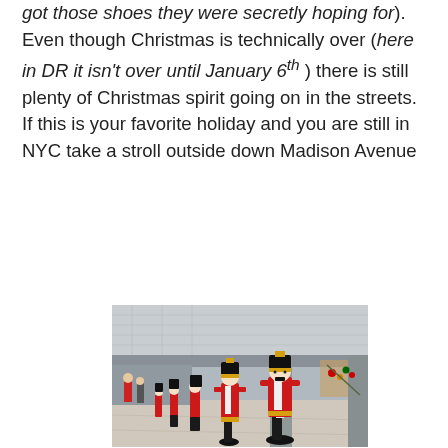got those shoes they were secretly hoping for). Even though Christmas is technically over (here in DR it isn't over until January 6th) there is still plenty of Christmas spirit going on in the streets. If this is your favorite holiday and you are still in NYC take a stroll outside down Madison Avenue
[Figure (photo): Large nutcracker soldier decorations lined up along the sidewalk of a covered walkway on Madison Avenue in New York City. The nutcrackers are dressed in red uniforms with black and gold hats. People and a city street are visible in the background.]